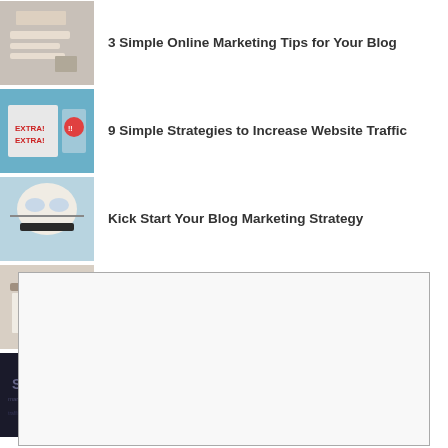3 Simple Online Marketing Tips for Your Blog
9 Simple Strategies to Increase Website Traffic
Kick Start Your Blog Marketing Strategy
5 Ways to Get Free Blog Traffic
How to Increase Blog Traffic
[Figure (other): Empty advertisement box with gray border]